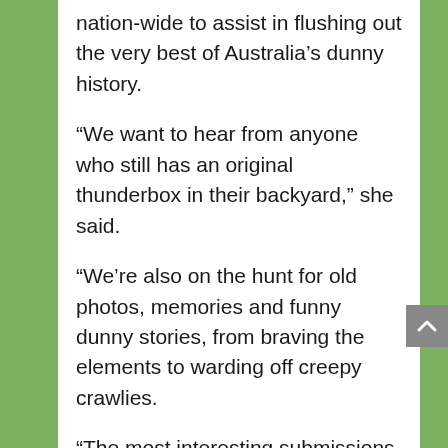nation-wide to assist in flushing out the very best of Australia's dunny history.
“We want to hear from anyone who still has an original thunderbox in their backyard,” she said.
“We’re also on the hunt for old photos, memories and funny dunny stories, from braving the elements to warding off creepy crawlies.
“The most interesting submissions will feature in our ‘Pooseum’ – a one of a kind mini-museum which we’re setting up at our Innovation Centre at Luggage Point Sewage Treatment Plant.”
The outhouse, otherwise known as a thunderbox, crapper, dunny, or a loo, remained a staple for Brisbane homes up until the completion of the city-